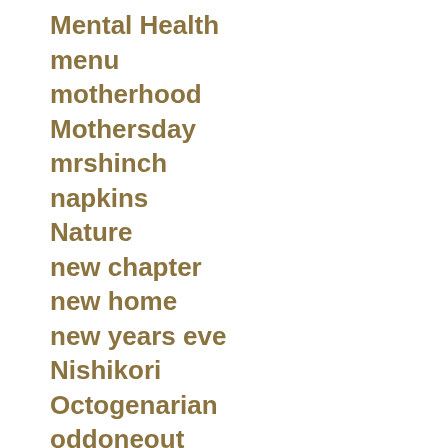Mental Health
menu
motherhood
Mothersday
mrshinch
napkins
Nature
new chapter
new home
new years eve
Nishikori
Octogenarian
oddoneout
ofsted
organise
Park run
photography